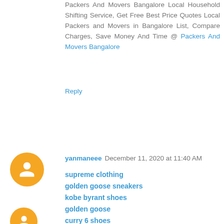Packers And Movers Bangalore Local Household Shifting Service, Get Free Best Price Quotes Local Packers and Movers in Bangalore List, Compare Charges, Save Money And Time @ Packers And Movers Bangalore
Reply
yanmaneee  December 11, 2020 at 11:40 AM
supreme clothing
golden goose sneakers
kobe byrant shoes
golden goose
curry 6 shoes
golden goose
giannis shoes
supreme
cheap jordans
longchamp
Reply